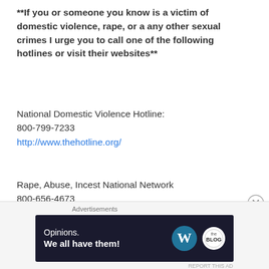**If you or someone you know is a victim of domestic violence, rape, or a any other sexual crimes I urge you to call one of the following hotlines or visit their websites**
National Domestic Violence Hotline:
800-799-7233
http://www.thehotline.org/
Rape, Abuse, Incest National Network
800-656-4673
https://rainn.org/
National Suicide Prevention Lifeline
800-273-8255
http://www.suicidepreventionlifeline.org/
[Figure (screenshot): Advertisement banner with dark background showing 'Opinions. We all have them!' text with WordPress and another logo]
Advertisements